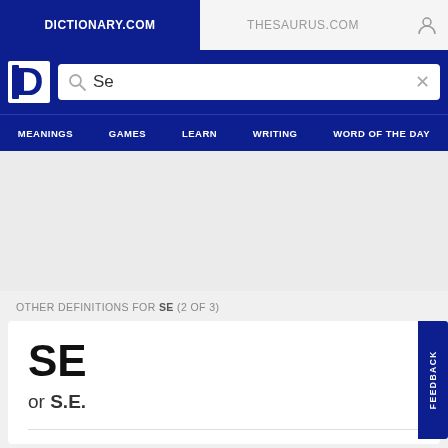DICTIONARY.COM | THESAURUS.COM
[Figure (screenshot): Dictionary.com logo - white D letter on dark blue background]
Se
OTHER DEFINITIONS FOR SE (2 OF 3)
SE
or S.E.